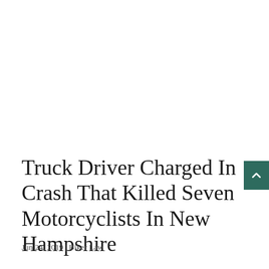Truck Driver Charged In Crash That Killed Seven Motorcyclists In New Hampshire
Jun 24, 2019 | Biker Law